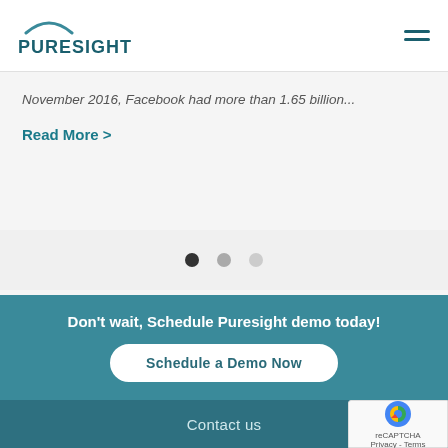[Figure (logo): Puresight logo with teal arc above bold teal uppercase text PURESIGHT]
November 2016, Facebook had more than 1.65 billion...
Read More >
[Figure (infographic): Three pagination dots: one dark, two light gray]
Don't wait, Schedule Puresight demo today!
Schedule a Demo Now
Contact us
[Figure (other): Google reCAPTCHA badge with reCAPTCHA logo and Privacy - Terms text]